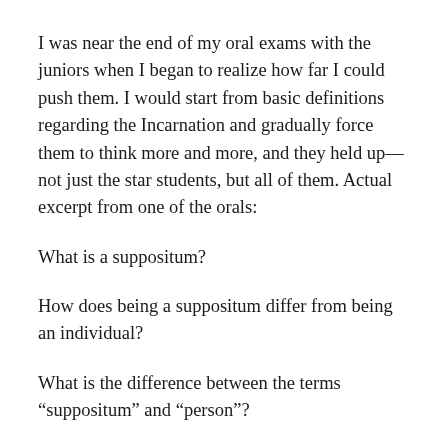I was near the end of my oral exams with the juniors when I began to realize how far I could push them. I would start from basic definitions regarding the Incarnation and gradually force them to think more and more, and they held up—not just the star students, but all of them. Actual excerpt from one of the orals:
What is a suppositum?
How does being a suppositum differ from being an individual?
What is the difference between the terms “suppositum” and “person”?